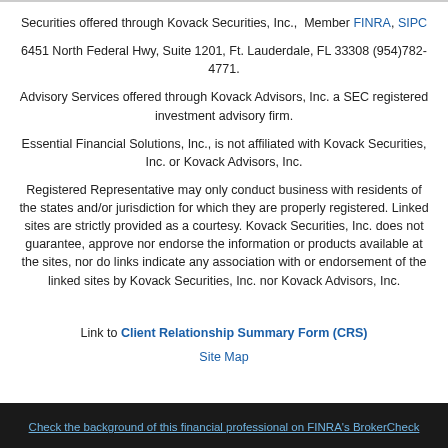Securities offered through Kovack Securities, Inc.,  Member FINRA, SIPC
6451 North Federal Hwy, Suite 1201, Ft. Lauderdale, FL 33308 (954)782-4771.
Advisory Services offered through Kovack Advisors, Inc. a SEC registered investment advisory firm.
Essential Financial Solutions, Inc., is not affiliated with Kovack Securities, Inc. or Kovack Advisors, Inc.
Registered Representative may only conduct business with residents of the states and/or jurisdiction for which they are properly registered. Linked sites are strictly provided as a courtesy. Kovack Securities, Inc. does not guarantee, approve nor endorse the information or products available at the sites, nor do links indicate any association with or endorsement of the linked sites by Kovack Securities, Inc. nor Kovack Advisors, Inc.
Link to Client Relationship Summary Form (CRS)
Site Map
Check the background of this financial professional on FINRA's BrokerCheck